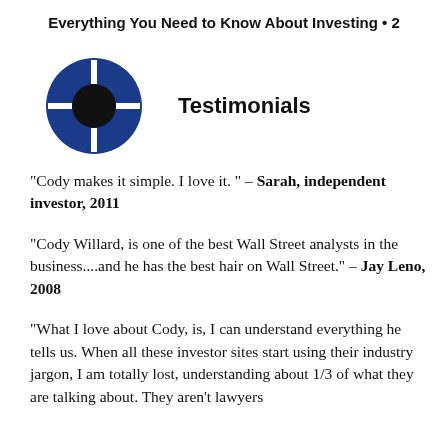Everything You Need to Know About Investing • 2
[Figure (logo): Crosshair/target icon: dark blue circle with black center circle and white crosshair lines]
Testimonials
"Cody makes it simple. I love it. " – Sarah, independent investor, 2011
"Cody Willard, is one of the best Wall Street analysts in the business....and he has the best hair on Wall Street." – Jay Leno, 2008
"What I love about Cody, is, I can understand everything he tells us. When all these investor sites start using their industry jargon, I am totally lost, understanding about 1/3 of what they are talking about. They aren't lawyers